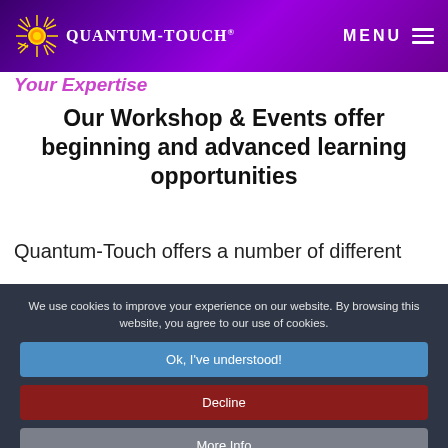QUANTUM-TOUCH® MENU
Your Expertise
Our Workshop & Events offer beginning and advanced learning opportunities
Quantum-Touch offers a number of different
We use cookies to improve your experience on our website. By browsing this website, you agree to our use of cookies.
Ok, I've understood!
Decline
More Info